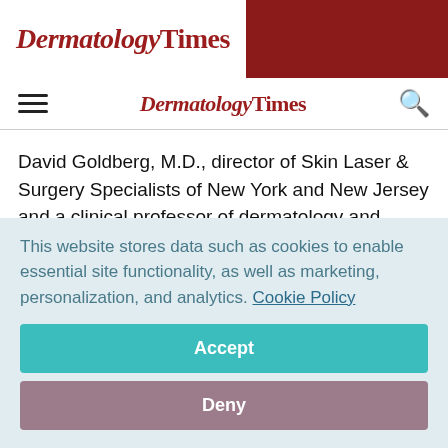DermatologyTimes
DermatologyTimes
David Goldberg, M.D., director of Skin Laser & Surgery Specialists of New York and New Jersey and a clinical professor of dermatology and director of laser research at Mount Sinai School of Medicine in New York.
"Conversely, laser and laser light technology are highly
This website stores data such as cookies to enable essential site functionality, as well as marketing, personalization, and analytics. Cookie Policy
Accept
Deny